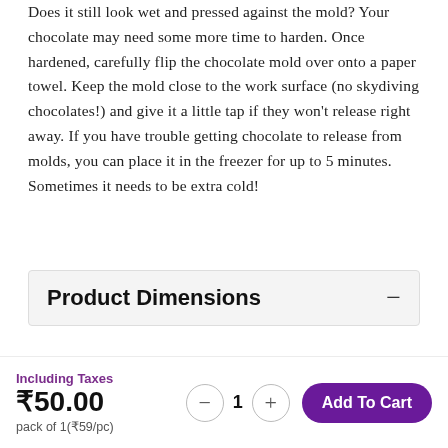Does it still look wet and pressed against the mold? Your chocolate may need some more time to harden. Once hardened, carefully flip the chocolate mold over onto a paper towel. Keep the mold close to the work surface (no skydiving chocolates!) and give it a little tap if they won't release right away. If you have trouble getting chocolate to release from molds, you can place it in the freezer for up to 5 minutes. Sometimes it needs to be extra cold!
Product Dimensions
Mould Number : 402 Chocolate Size (mm) : 75*37*13 Chocolate Weight (gm) : 20 Number of Cavities per Mould : 4 Mould Size (mm) : 260 * 170
Customer Reviews
Including Taxes
₹50.00
pack of 1(₹59/pc)